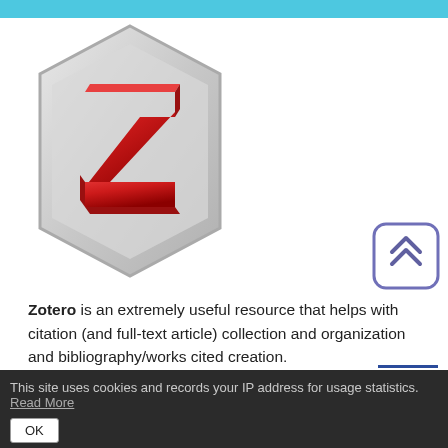[Figure (logo): Zotero logo: a 3D red letter Z on a silver hexagonal shield/gem shape]
[Figure (other): Scroll-to-top button: rounded square with double chevron up arrows in purple/violet]
Zotero is an extremely useful resource that helps with citation (and full-text article) collection and organization and bibliography/works cited creation.
Zotero
This site uses cookies and records your IP address for usage statistics. Read More
OK